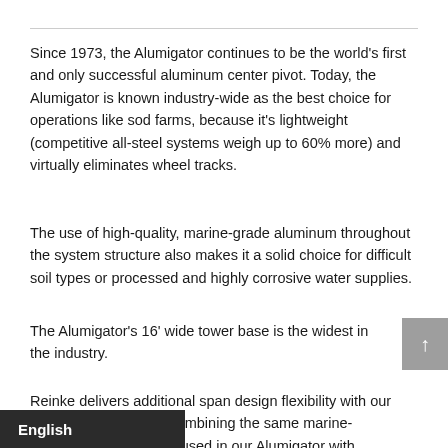Since 1973, the Alumigator continues to be the world's first and only successful aluminum center pivot. Today, the Alumigator is known industry-wide as the best choice for operations like sod farms, because it's lightweight (competitive all-steel systems weigh up to 60% more) and virtually eliminates wheel tracks.
The use of high-quality, marine-grade aluminum throughout the system structure also makes it a solid choice for difficult soil types or processed and highly corrosive water supplies.
The Alumigator's 16' wide tower base is the widest in the industry.
Reinke delivers additional span design flexibility with our A-80G models. Combining the same marine- ninum water pipe used in our Alumigator with